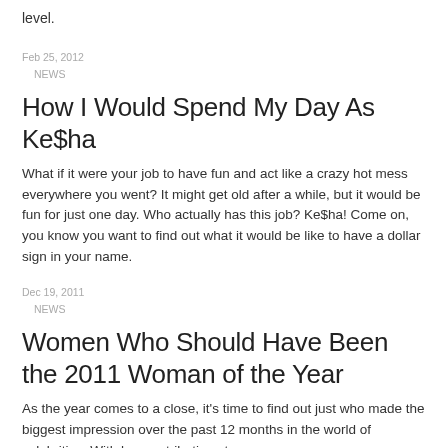level.
Feb 25, 2012
    NEWS
How I Would Spend My Day As Ke$ha
What if it were your job to have fun and act like a crazy hot mess everywhere you went? It might get old after a while, but it would be fun for just one day. Who actually has this job? Ke$ha! Come on, you know you want to find out what it would be like to have a dollar sign in your name.
Dec 19, 2011
    NEWS
Women Who Should Have Been the 2011 Woman of the Year
As the year comes to a close, it's time to find out just who made the biggest impression over the past 12 months in the world of celebrities. With her contributions to many